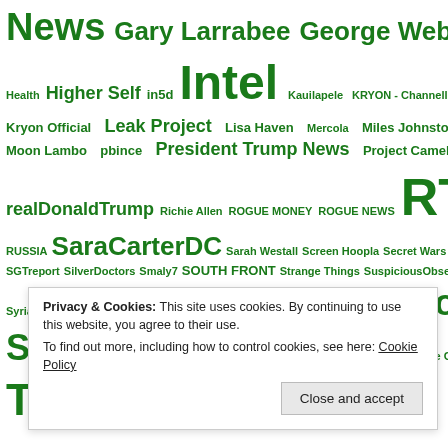[Figure (infographic): Word cloud of news/media channel names in various green font sizes, including: News, Gary Larrabee, George Webb, GREG HUNTER, Health, Higher Self, in5d, Intel, Kauilapele, KRYON - Channelling, Kryon Official, Leak Project, Lisa Haven, Mercola, Miles Johnston, ModernGalaxy, Moon Lambo, pbince, President Trump News, Project Camelot, qanon76, realDonaldTrump, Richie Allen, ROGUE MONEY, ROGUE NEWS, RT, RUSSIA, SaraCarterDC, Sarah Westall, Screen Hoopla, Secret Wars, secureteam10, SGTreport, SilverDoctors, Smaly7, SOUTH FRONT, Strange Things, SuspiciousObservers, Syria, The Alex Jones Channel, The Common Sense Show, The Daily Sheeple, The Epoch Times, The Goldfish Report, The Next News, William Mount 2, X22Report]
Privacy & Cookies: This site uses cookies. By continuing to use this website, you agree to their use. To find out more, including how to control cookies, see here: Cookie Policy
Close and accept